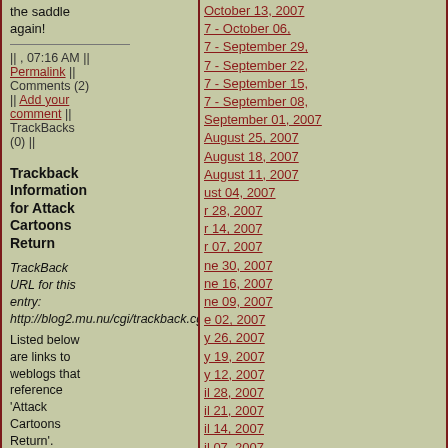the saddle again!
|| , 07:16 AM || Permalink || Comments (2) || Add your comment || TrackBacks (0) ||
Trackback Information for Attack Cartoons Return
TrackBack URL for this entry: http://blog2.mu.nu/cgi/trackback.cgi/1...
Listed below are links to weblogs that reference 'Attack Cartoons Return'.
October 13, 2007
7 - October 06,
7 - September 29,
7 - September 22,
7 - September 15,
7 - September 08,
September 01, 2007
August 25, 2007
August 18, 2007
August 11, 2007
ust 04, 2007
r 28, 2007
r 14, 2007
r 07, 2007
ne 30, 2007
ne 16, 2007
ne 09, 2007
e 02, 2007
y 26, 2007
y 19, 2007
y 12, 2007
il 28, 2007
il 21, 2007
il 14, 2007
il 07, 2007
March 31, 2007
March 24, 2007
March 10, 2007
- February 24, 2007
- February 10, 2007
February 03, 2007
January 27, 2007